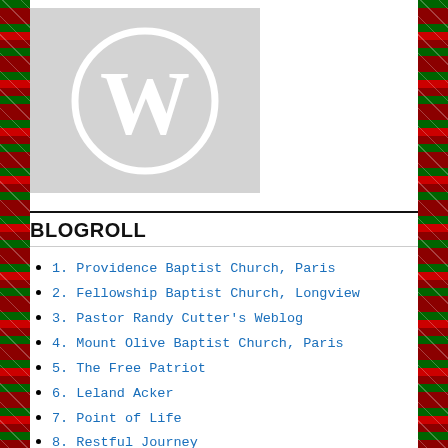[Figure (logo): WordPress logo — white W inside a white circle on a light gray square background]
BLOGROLL
1. Providence Baptist Church, Paris
2. Fellowship Baptist Church, Longview
3. Pastor Randy Cutter's Weblog
4. Mount Olive Baptist Church, Paris
5. The Free Patriot
6. Leland Acker
7. Point of Life
8. Restful Journey
9. Wild Postcards
The Goat Locker